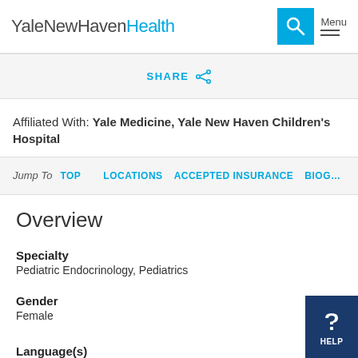YaleNewHavenHealth
SHARE
Affiliated With: Yale Medicine, Yale New Haven Children's Hospital
Jump To  TOP  |  LOCATIONS  ACCEPTED INSURANCE  BIOG...
Overview
Specialty
Pediatric Endocrinology, Pediatrics
Gender
Female
Language(s)